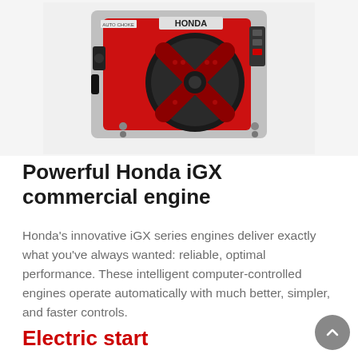[Figure (photo): Honda iGX commercial engine - red engine with black cooling fan/recoil starter on the front, AUTO CHOKE label visible, HONDA branding on top, photographed against white background]
Powerful Honda iGX commercial engine
Honda's innovative iGX series engines deliver exactly what you've always wanted: reliable, optimal performance. These intelligent computer-controlled engines operate automatically with much better, simpler, and faster controls.
Electric start